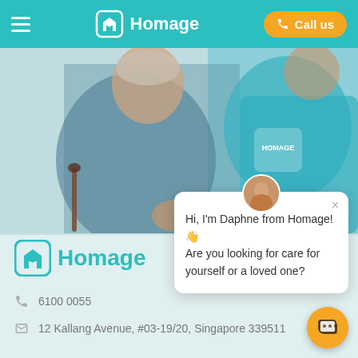Homage — Call us
[Figure (photo): An elderly woman in a floral blue dress holding a cane, supported by a caregiver wearing a teal Homage branded t-shirt with a heart logo]
Hi, I'm Daphne from Homage! 👋 Are you looking for care for yourself or a loved one?
[Figure (logo): Homage logo — teal house with heart icon and text 'Homage']
6100 0055
12 Kallang Avenue, #03-19/20, Singapore 339511